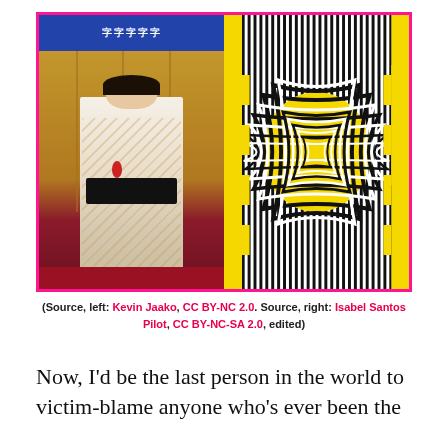[Figure (photo): Left: woman in traditional Japanese kimono standing in front of gold folding screen. Right: black and yellow optical illusion artwork with swirling concentric stripe pattern.]
(Source, left: Kevin Jaako, CC BY-NC 2.0. Source, right: Isabel Santos Pilot, CC BY-NC-SA 2.0, edited)
Now, I'd be the last person in the world to victim-blame anyone who's ever been the